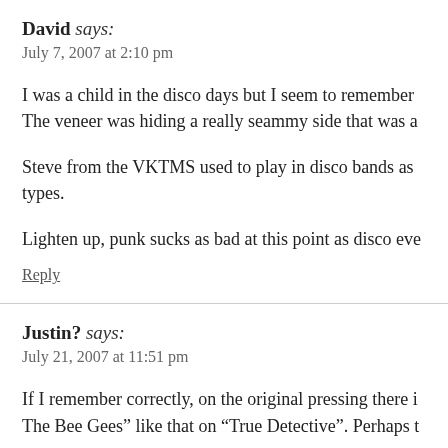David says:
July 7, 2007 at 2:10 pm
I was a child in the disco days but I seem to remember The veneer was hiding a really seammy side that was a
Steve from the VKTMS used to play in disco bands as types.
Lighten up, punk sucks as bad at this point as disco eve
Reply
Justin? says:
July 21, 2007 at 11:51 pm
If I remember correctly, on the original pressing there i The Bee Gees” like that on “True Detective”. Perhaps t